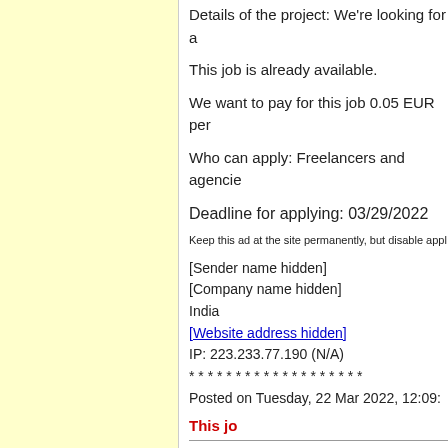Details of the project: We're looking for a
This job is already available.
We want to pay for this job 0.05 EUR per
Who can apply: Freelancers and agencies
Deadline for applying: 03/29/2022
Keep this ad at the site permanently, but disable apply
[Sender name hidden]
[Company name hidden]
India
[Website address hidden]
IP: 223.233.77.190 (N/A)
* * * * * * * * * * * * * * * * * * *
Posted on Tuesday, 22 Mar 2022, 12:09:
This jo
Translation and transcription jobs:
English to M
Source language(s): English, Hindi
Target language(s): Malayalam